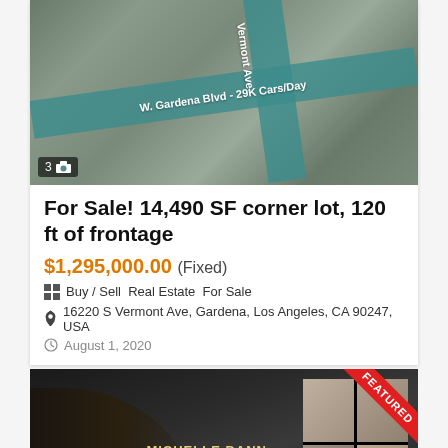[Figure (photo): Aerial/satellite view of intersection with teal-highlighted roads labeled 'Vermont Ave' and 'W. Gardena Blvd – 29K Cars/Day'. Photo counter showing 3 photos.]
For Sale! 14,490 SF corner lot, 120 ft of frontage
$1,295,000.00 (Fixed)
Buy / Sell  Real Estate  For Sale
16220 S Vermont Ave, Gardena, Los Angeles, CA 90247, USA
August 1, 2020
[Figure (photo): Dark image showing a person in silhouette with 'Michelle Dann Acting Studio' text visible, a 2x2 grid of video call thumbnail portraits, and a red 'FEATURED' ribbon badge in top-right corner.]